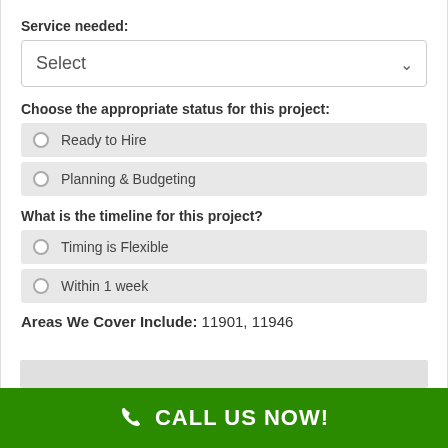Service needed:
Select
Choose the appropriate status for this project:
Ready to Hire
Planning & Budgeting
What is the timeline for this project?
Timing is Flexible
Within 1 week
Areas We Cover Include: 11901, 11946
CALL US NOW!